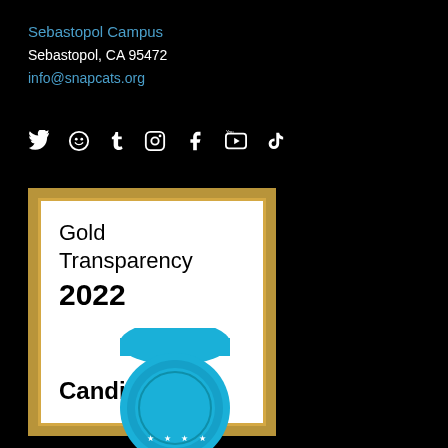Sebastopol Campus
Sebastopol, CA 95472
info@snapcats.org
[Figure (infographic): Social media icons row: Twitter, smiley/face icon, Tumblr, Instagram, Facebook, YouTube, TikTok]
[Figure (infographic): Gold Transparency 2022 Candid. badge seal with gold border on white background]
[Figure (illustration): Partial blue ribbon/medal award badge visible at bottom of page]